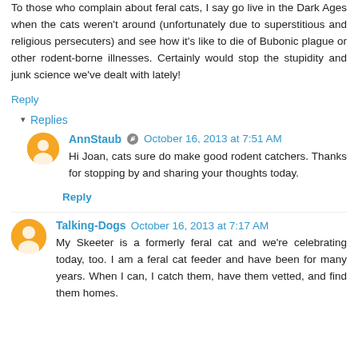To those who complain about feral cats, I say go live in the Dark Ages when the cats weren't around (unfortunately due to superstitious and religious persecuters) and see how it's like to die of Bubonic plague or other rodent-borne illnesses. Certainly would stop the stupidity and junk science we've dealt with lately!
Reply
▾ Replies
AnnStaub ✎ October 16, 2013 at 7:51 AM
Hi Joan, cats sure do make good rodent catchers. Thanks for stopping by and sharing your thoughts today.
Reply
Talking-Dogs October 16, 2013 at 7:17 AM
My Skeeter is a formerly feral cat and we're celebrating today, too. I am a feral cat feeder and have been for many years. When I can, I catch them, have them vetted, and find them homes.